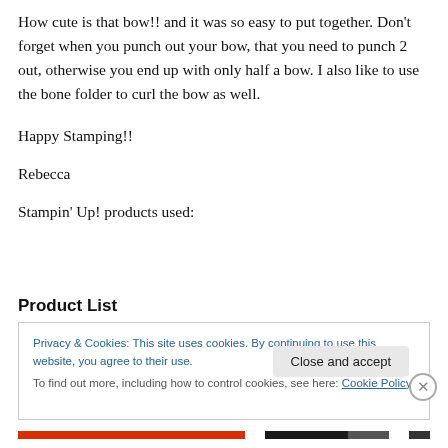How cute is that bow!! and it was so easy to put together. Don't forget when you punch out your bow, that you need to punch 2 out, otherwise you end up with only half a bow. I also like to use the bone folder to curl the bow as well.
Happy Stamping!!
Rebecca
Stampin' Up! products used:
Product List
Privacy & Cookies: This site uses cookies. By continuing to use this website, you agree to their use.
To find out more, including how to control cookies, see here: Cookie Policy